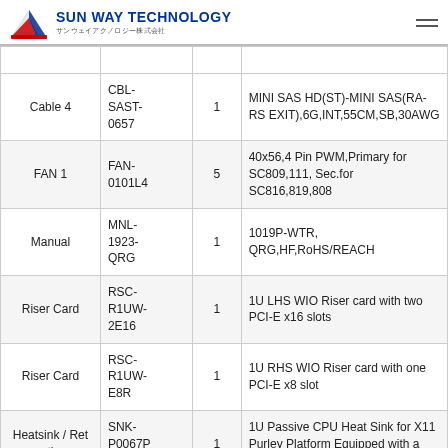SUN WAY TECHNOLOGY サンウェイアクノロジー株式会社
|  |  |  |  |
| --- | --- | --- | --- |
| Cable 4 | CBL-SAST-0657 | 1 | MINI SAS HD(ST)-MINI SAS(RA-RS EXIT),6G,INT,55CM,SB,30AWG |
| FAN 1 | FAN-0101L4 | 5 | 40x56,4 Pin PWM,Primary for SC809,111, Sec.for SC816,819,808 |
| Manual | MNL-1923-QRG | 1 | 1019P-WTR, QRG,HF,RoHS/REACH |
| Riser Card | RSC-R1UW-2E16 | 1 | 1U LHS WIO Riser card with two PCI-E x16 slots |
| Riser Card | RSC-R1UW-E8R | 1 | 1U RHS WIO Riser card with one PCI-E x8 slot |
| Heatsink / Retention | SNK-P0067PS | 1 | 1U Passive CPU Heat Sink for X11 Purley Platform Equipped with a Narrow Retention Mechanism |